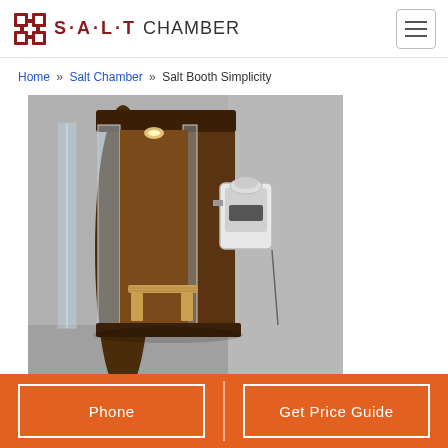SALT CHAMBER
Home » Salt Chamber » Salt Booth Simplicity
[Figure (photo): A wooden salt therapy booth (Salt Booth Simplicity) with transparent glass/acrylic panels, an interior wooden bench, and a halogenerator mounted on the exterior right side, displayed in a room with grey walls and light grey flooring.]
Phone | Get Price Guide